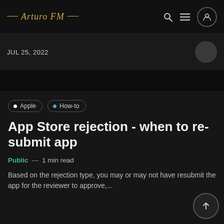— Arturo FM —
JUL 25, 2022
Apple · How-to
App Store rejection - when to re-submit app
Public — 1 min read
Based on the rejection type, you may or may not have resubmit the app for the reviewer to approve,...